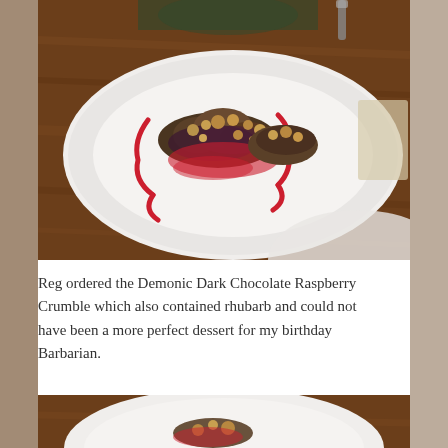[Figure (photo): A white plate with dark chocolate raspberry crumble dessert with red raspberry sauce drizzled on a wooden table. A person is visible in the background.]
Reg ordered the Demonic Dark Chocolate Raspberry Crumble which also contained rhubarb and could not have been a more perfect dessert for my birthday Barbarian.
[Figure (photo): A second photo showing a white plate with the crumble dessert, partially eaten, cropped at bottom of page.]